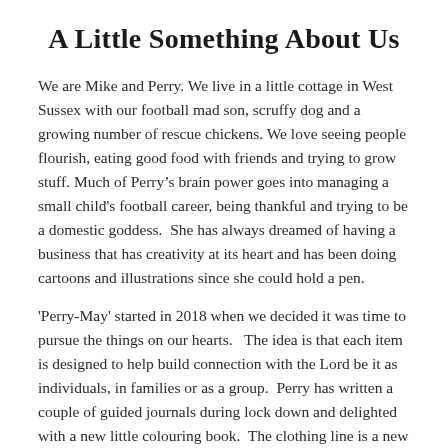A Little Something About Us
We are Mike and Perry. We live in a little cottage in West Sussex with our football mad son, scruffy dog and a growing number of rescue chickens. We love seeing people flourish, eating good food with friends and trying to grow stuff. Much of Perry’s brain power goes into managing a small child's football career, being thankful and trying to be a domestic goddess.  She has always dreamed of having a business that has creativity at its heart and has been doing cartoons and illustrations since she could hold a pen.
'Perry-May' started in 2018 when we decided it was time to pursue the things on our hearts.   The idea is that each item is designed to help build connection with the Lord be it as individuals, in families or as a group.  Perry has written a couple of guided journals during lock down and delighted with a new little colouring book.  The clothing line is a new aspect but has